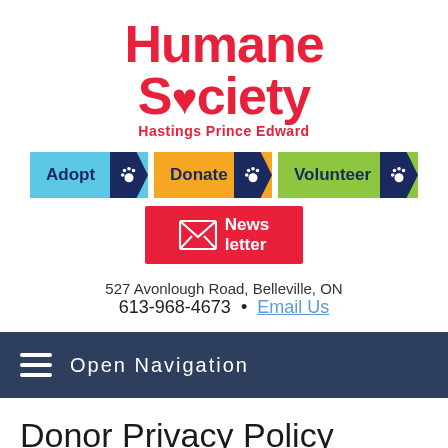[Figure (logo): Humane Society Hastings Prince Edward logo in red with heart symbol]
[Figure (infographic): Three action buttons: Adopt (light blue), Donate (orange), Volunteer (green), each with dark navy arrow and paw print icon]
[Figure (infographic): Newsletter button in red with envelope icon]
527 Avonlough Road, Belleville, ON
613-968-4673  •  Email Us
Open Navigation
Donor Privacy Policy